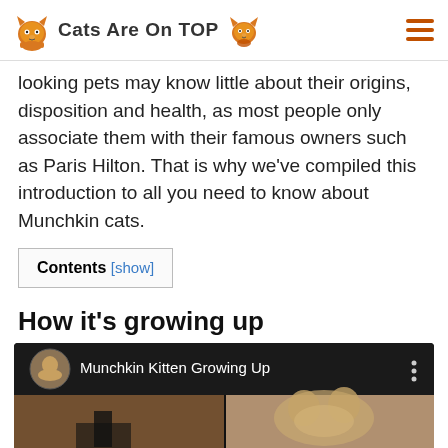Cats Are On TOP
looking pets may know little about their origins, disposition and health, as most people only associate them with their famous owners such as Paris Hilton. That is why we've compiled this introduction to all you need to know about Munchkin cats.
| Contents [show] |
| --- |
How it's growing up
[Figure (screenshot): YouTube-style video embed showing 'Munchkin Kitten Growing Up' with a circular channel thumbnail on the left, video title in white text on dark background, three-dot menu icon, and a split video preview below showing two kitten images.]